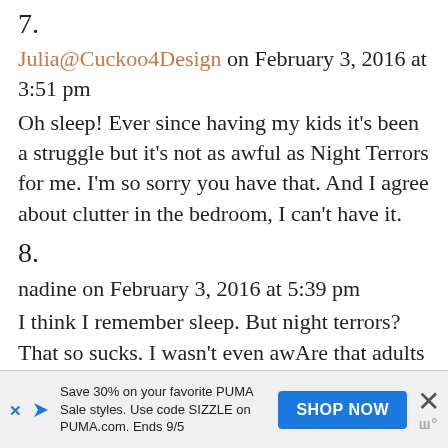7.
Julia@Cuckoo4Design on February 3, 2016 at 3:51 pm
Oh sleep! Ever since having my kids it's been a struggle but it's not as awful as Night Terrors for me. I'm so sorry you have that. And I agree about clutter in the bedroom, I can't have it.
8.
nadine on February 3, 2016 at 5:39 pm
I think I remember sleep. But night terrors? That so sucks. I wasn't even awAre that adults suffered from it. So sorry to hear. Yeah no sleep here either. Between, husband, cats and dog it's always something. But even when the planet's
Save 30% on your favorite PUMA Sale styles. Use code SIZZLE on PUMA.com. Ends 9/5